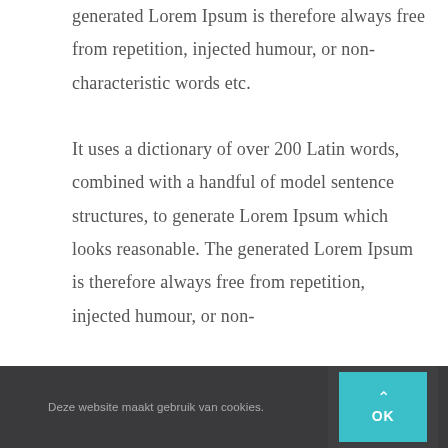generated Lorem Ipsum is therefore always free from repetition, injected humour, or non-characteristic words etc.

It uses a dictionary of over 200 Latin words, combined with a handful of model sentence structures, to generate Lorem Ipsum which looks reasonable. The generated Lorem Ipsum is therefore always free from repetition, injected humour, or non-
Deze website maakt gebruik van cookies.  OK